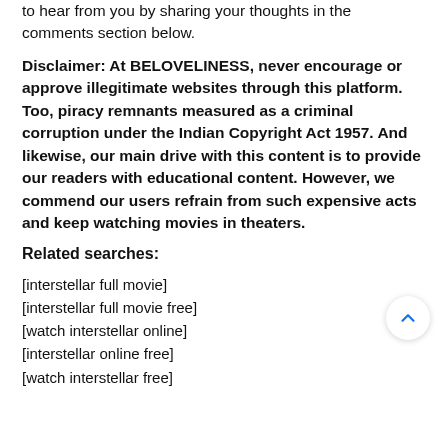to hear from you by sharing your thoughts in the comments section below.
Disclaimer: At BELOVELINESS, never encourage or approve illegitimate websites through this platform. Too, piracy remnants measured as a criminal corruption under the Indian Copyright Act 1957. And likewise, our main drive with this content is to provide our readers with educational content. However, we commend our users refrain from such expensive acts and keep watching movies in theaters.
Related searches:
[interstellar full movie]
[interstellar full movie free]
[watch interstellar online]
[interstellar online free]
[watch interstellar free]